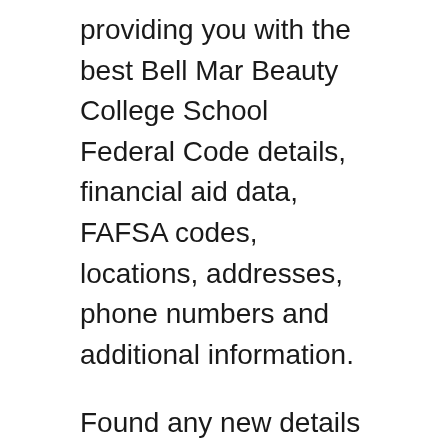providing you with the best Bell Mar Beauty College School Federal Code details, financial aid data, FAFSA codes, locations, addresses, phone numbers and additional information.
Found any new details for Bell Mar Beauty College School Federal Code or Bell Mar Beauty College FAFSA code? Please send whatever you found to us using the contact us page or the comments form below. The new details or information for Bell Mar Beauty College School Federal Code, will be verified and publish for free, for the benefit of all